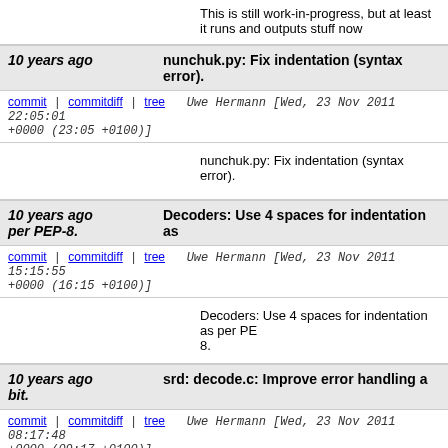This is still work-in-progress, but at least it runs and outputs stuff now
10 years ago   nunchuk.py: Fix indentation (syntax error).
commit | commitdiff | tree   Uwe Hermann [Wed, 23 Nov 2011 22:05:01 +0000 (23:05 +0100)]
nunchuk.py: Fix indentation (syntax error).
10 years ago   Decoders: Use 4 spaces for indentation as per PEP-8.
commit | commitdiff | tree   Uwe Hermann [Wed, 23 Nov 2011 15:15:55 +0000 (16:15 +0100)]
Decoders: Use 4 spaces for indentation as per PE 8.
10 years ago   srd: decode.c: Improve error handling a bit.
commit | commitdiff | tree   Uwe Hermann [Wed, 23 Nov 2011 08:17:48 +0000 (09:17 +0100)]
srd: decode.c: Improve error handling a bit.